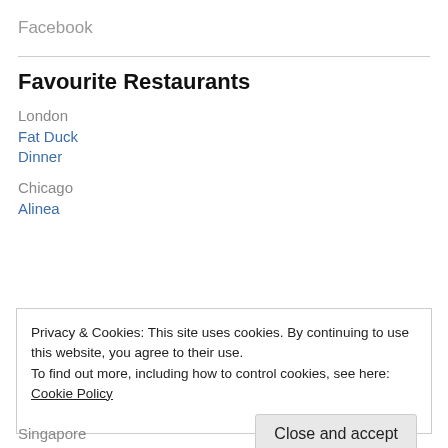Facebook
Favourite Restaurants
London
Fat Duck
Dinner
Chicago
Alinea
Privacy & Cookies: This site uses cookies. By continuing to use this website, you agree to their use.
To find out more, including how to control cookies, see here: Cookie Policy
Close and accept
Singapore